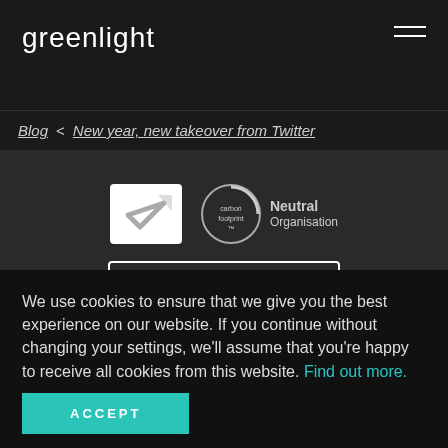greenlight
Blog < New year, new takeover from Twitter
[Figure (logo): Checkmark badge (white rectangle with grey checkmark)]
[Figure (logo): Carbon footprint Neutral Organisation circular badge]
[Figure (logo): Disability Confident COMMITTED badge]
We use cookies to ensure that we give you the best experience on our website. If you continue without changing your settings, we'll assume that you're happy to receive all cookies from this website. Find out more.
ACCEPT